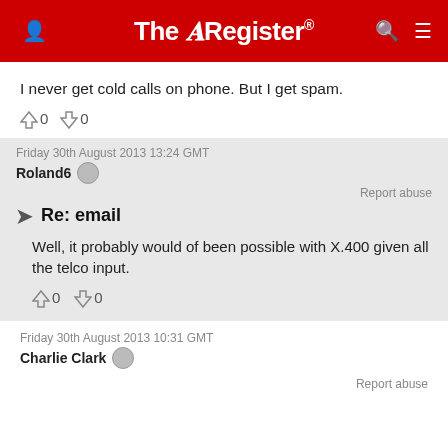The Register
I never get cold calls on phone. But I get spam.
↑0  ↓0
Friday 30th August 2013 13:24 GMT
Roland6
Report abuse
Re: email
Well, it probably would of been possible with X.400 given all the telco input.
↑0  ↓0
Friday 30th August 2013 10:31 GMT
Charlie Clark
Report abuse